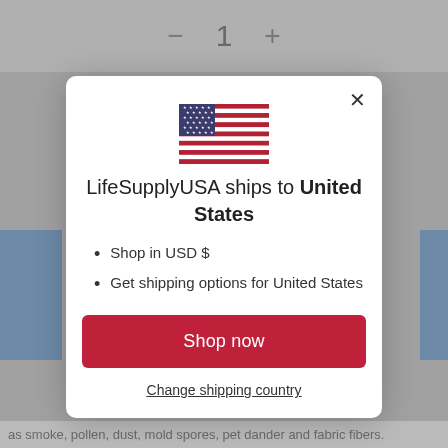[Figure (screenshot): Background page showing a quantity selector with minus, 1, plus buttons and partial product description text. A modal dialog overlay is displayed on top.]
[Figure (illustration): US flag icon shown inside the modal dialog]
LifeSupplyUSA ships to United States
Shop in USD $
Get shipping options for United States
Shop now
Change shipping country
as smoke, pollen, dust, mold spores, pet dander and fabric fibers.